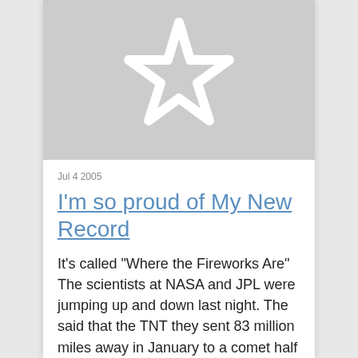[Figure (illustration): Gray image placeholder with a white star outline icon in the center]
Jul 4 2005
I'm so proud of My New Record
It's called "Where the Fireworks Are" The scientists at NASA and JPL were jumping up and down last night. The said that the TNT they sent 83 million miles away in January to a comet half